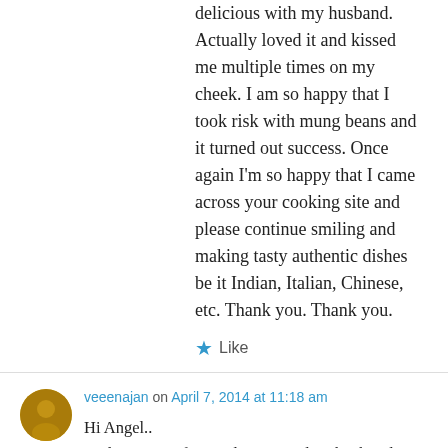delicious with my husband. Actually loved it and kissed me multiple times on my cheek. I am so happy that I took risk with mung beans and it turned out success. Once again I'm so happy that I came across your cooking site and please continue smiling and making tasty authentic dishes be it Indian, Italian, Chinese, etc. Thank you. Thank you.
★ Like
veeenajan on April 7, 2014 at 11:18 am
Hi Angel..
Feeling great after reading ur mail… thanks a lot for the compliment and great to knw that u tried my recipe and liked it.. plz keep in touch and